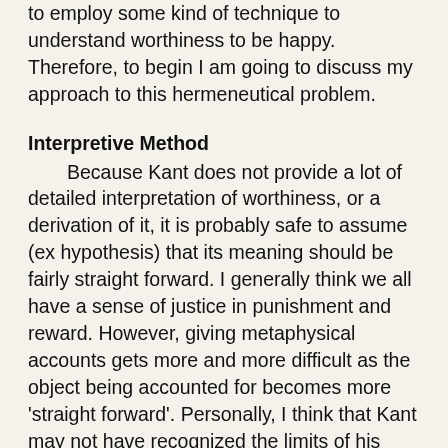to employ some kind of technique to understand worthiness to be happy. Therefore, to begin I am going to discuss my approach to this hermeneutical problem.
Interpretive Method
Because Kant does not provide a lot of detailed interpretation of worthiness, or a derivation of it, it is probably safe to assume (ex hypothesis) that its meaning should be fairly straight forward. I generally think we all have a sense of justice in punishment and reward. However, giving metaphysical accounts gets more and more difficult as the object being accounted for becomes more 'straight forward'. Personally, I think that Kant may not have recognized the limits of his discussion of worthiness to be happy (or I have not found the passage he makes its necessity precise enough); I also think that Kant did not have a method for